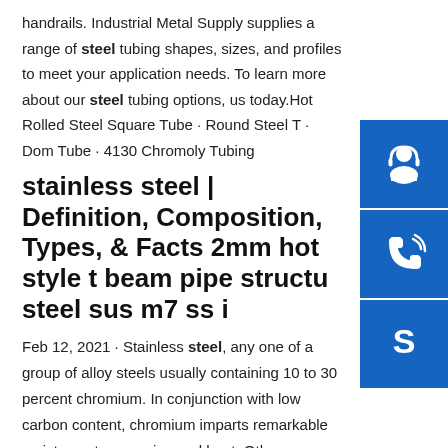handrails. Industrial Metal Supply supplies a range of steel tubing shapes, sizes, and profiles to meet your application needs. To learn more about our steel tubing options, us today.Hot Rolled Steel Square Tube · Round Steel T · Dom Tube · 4130 Chromoly Tubing
stainless steel | Definition, Composition, Types, & Facts 2mm hot style t beam pipe structure steel sus m7 ss i
Feb 12, 2021 · Stainless steel, any one of a group of alloy steels usually containing 10 to 30 percent chromium. In conjunction with low carbon content, chromium imparts remarkable resistance to corrosion and heat. Other elements may be added to increase resistance to corrosion and oxidation and impart special characteristics.Some results are removed in response to a notice of local law requirement. For